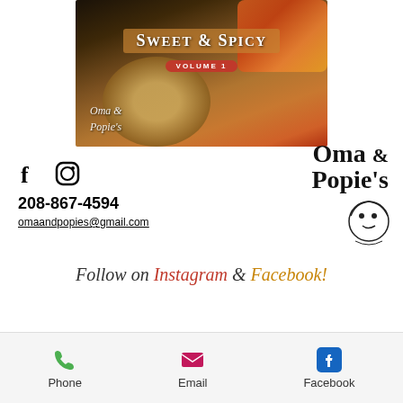[Figure (photo): Cookbook cover photo showing bagels, peppers and food on a wooden board with text 'Sweet & Spicy Volume 1' and Oma & Popie's branding]
[Figure (logo): Oma & Popie's logo with illustrated faces of an older couple]
208-867-4594
omaandpopies@gmail.com
Follow on Instagram & Facebook!
Phone   Email   Facebook